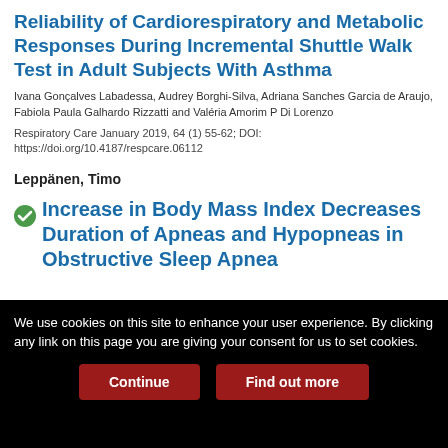Reliability of Cardiorespiratory and Metabolic Responses During Incremental Shuttle Walk Test in Adult Subjects With Asthma
Ivana Gonçalves Labadessa, Audrey Borghi-Silva, Adriana Sanches Garcia de Araujo, Fabiola Paula Galhardo Rizzatti and Valéria Amorim P Di Lorenzo
Respiratory Care January 2019, 64 (1) 55-62; DOI: https://doi.org/10.4187/respcare.06112
Leppänen, Timo
Increase in Body Mass Index Decreases Duration of Apneas and Hypopneas in Obstructive Sleep Apnea
We use cookies on this site to enhance your user experience. By clicking any link on this page you are giving your consent for us to set cookies.